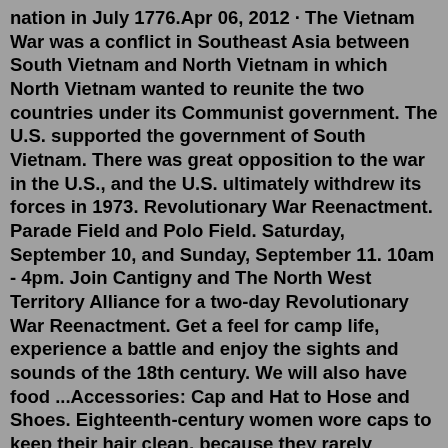nation in July 1776.Apr 06, 2012 · The Vietnam War was a conflict in Southeast Asia between South Vietnam and North Vietnam in which North Vietnam wanted to reunite the two countries under its Communist government. The U.S. supported the government of South Vietnam. There was great opposition to the war in the U.S., and the U.S. ultimately withdrew its forces in 1973. Revolutionary War Reenactment. Parade Field and Polo Field. Saturday, September 10, and Sunday, September 11. 10am - 4pm. Join Cantigny and The North West Territory Alliance for a two-day Revolutionary War Reenactment. Get a feel for camp life, experience a battle and enjoy the sights and sounds of the 18th century. We will also have food ...Accessories: Cap and Hat to Hose and Shoes. Eighteenth-century women wore caps to keep their hair clean, because they rarely washed it. For going out, hairstyles required elaborate coiffures or wigs, sometimes powdered. Hats were worn atop the caps or wigs; between 1784 and 1786 alone, hat styles changed 17